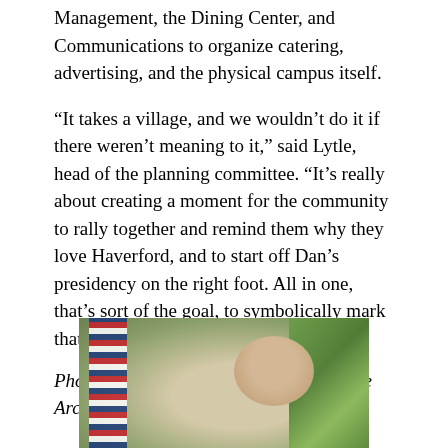Management, the Dining Center, and Communications to organize catering, advertising, and the physical campus itself.
“It takes a village, and we wouldn’t do it if there weren’t meaning to it,” said Lytle, head of the planning committee. “It’s really about creating a moment for the community to rally together and remind them why they love Haverford, and to start off Dan’s presidency on the right foot. All in one, that’s sort of the goal, to symbolically mark that moment.”
Photos are courtesy of Haverford College Archives: Special Collections.
[Figure (photo): A man with gray hair and glasses speaking outdoors, with an American flag visible on the left and green foliage in the background.]